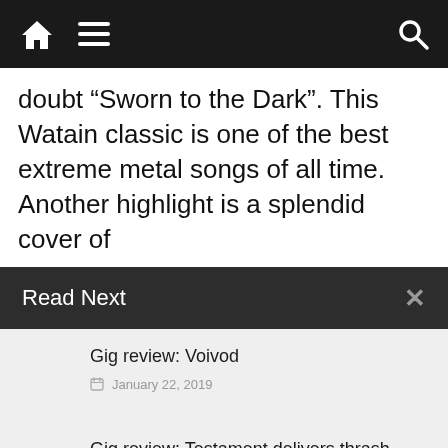Navigation bar with home, menu, and search icons
doubt “Sworn to the Dark”. This Watain classic is one of the best extreme metal songs of all time. Another highlight is a splendid cover of
Read Next
Gig review: Voivod
January 22, 2019
Gig review: Testament delivers thrash metal knockout on Tokyo fans
February 28, 2017